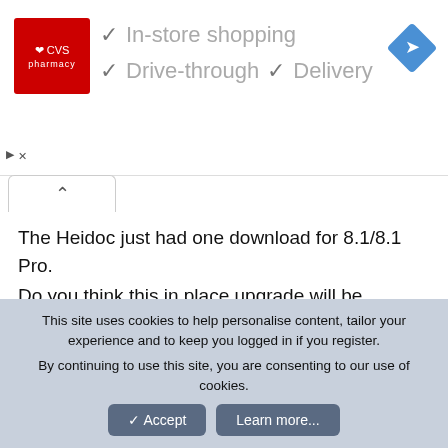[Figure (screenshot): CVS Pharmacy advertisement banner with logo, checkmarks for In-store shopping, Drive-through, and Delivery, plus a navigation icon]
The Heidoc just had one download for 8.1/8.1 Pro.
Do you think this in place upgrade will be successful and will activate.
▶ My Computer
Brink
This site uses cookies to help personalise content, tailor your experience and to keep you logged in if you register. By continuing to use this site, you are consenting to our use of cookies.